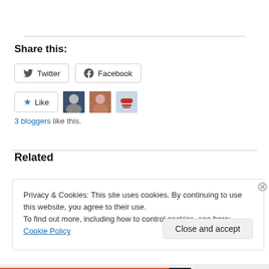Share this:
Twitter  Facebook
Like  3 bloggers like this.
Related
Privacy & Cookies: This site uses cookies. By continuing to use this website, you agree to their use.
To find out more, including how to control cookies, see here: Cookie Policy
Close and accept